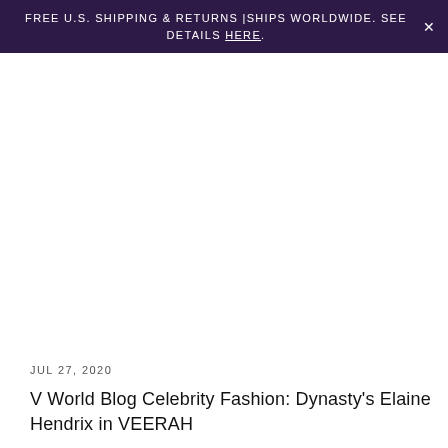FREE U.S. SHIPPING & RETURNS |SHIPS WORLDWIDE. SEE DETAILS HERE.
JUL 27, 2020
V World Blog Celebrity Fashion: Dynasty's Elaine Hendrix in VEERAH